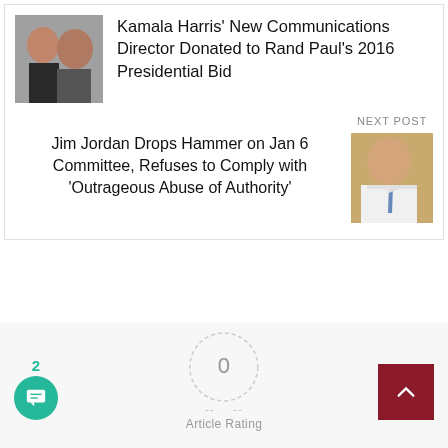Kamala Harris’ New Communications Director Donated to Rand Paul’s 2016 Presidential Bid
NEXT POST
Jim Jordan Drops Hammer on Jan 6 Committee, Refuses to Comply with ‘Outrageous Abuse of Authority’
0
Article Rating